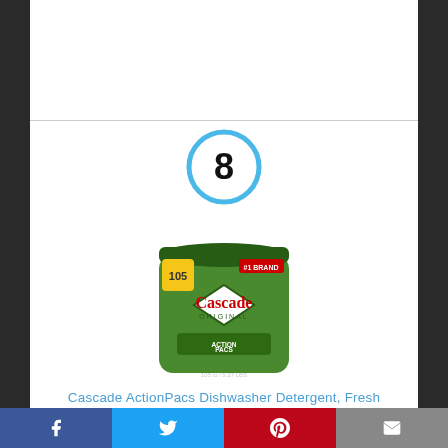[Figure (other): Ranking badge with number 8 inside a blue circle]
[Figure (photo): Cascade ActionPacs Dishwasher Detergent green container, 105 Count]
Cascade ActionPacs Dishwasher Detergent, Fresh Scent, 105 Count(Packaging may vary)
By Cascade
[Figure (other): Social share bar with Facebook, Twitter, Pinterest, and Email buttons]